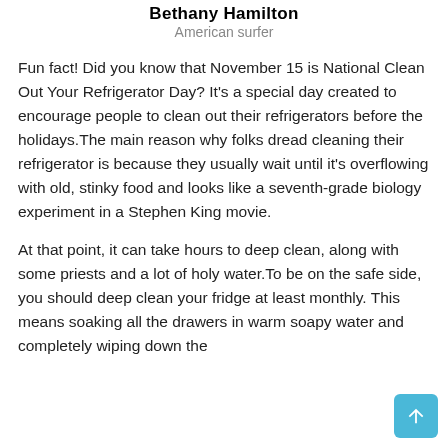Bethany Hamilton
American surfer
Fun fact! Did you know that November 15 is National Clean Out Your Refrigerator Day? It’s a special day created to encourage people to clean out their refrigerators before the holidays.The main reason why folks dread cleaning their refrigerator is because they usually wait until it’s overflowing with old, stinky food and looks like a seventh-grade biology experiment in a Stephen King movie.
At that point, it can take hours to deep clean, along with some priests and a lot of holy water.To be on the safe side, you should deep clean your fridge at least monthly. This means soaking all the drawers in warm soapy water and completely wiping down the